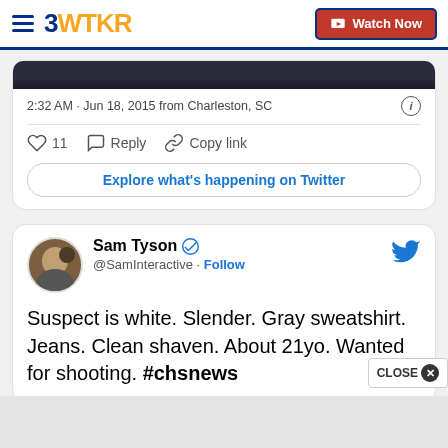3WTKR | Watch Now
[Figure (screenshot): Partial top of a Twitter embed showing a dark image strip]
2:32 AM · Jun 18, 2015 from Charleston, SC
♡ 11   Reply   Copy link
Explore what's happening on Twitter
Sam Tyson @SamInteractive · Follow
Suspect is white. Slender. Gray sweatshirt. Jeans. Clean shaven. About 21yo. Wanted for shooting. #chsnews